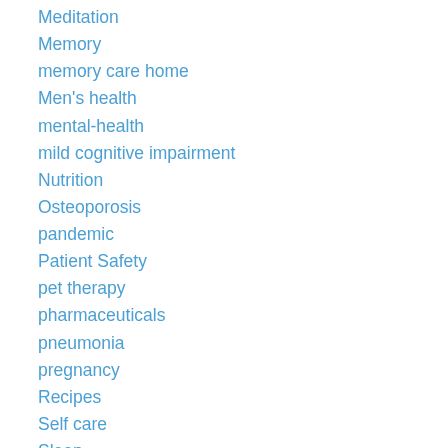Meditation
Memory
memory care home
Men's health
mental-health
mild cognitive impairment
Nutrition
Osteoporosis
pandemic
Patient Safety
pet therapy
pharmaceuticals
pneumonia
pregnancy
Recipes
Self care
Sleep
Spirituality
Stress
vegetarian